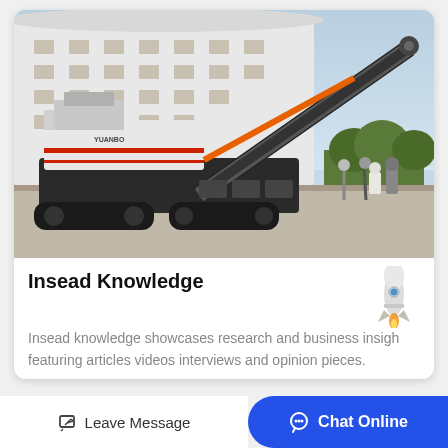[Figure (photo): A large mobile crushing/screening machine on crawler tracks, with a long conveyor belt raised at an angle, parked on a factory/industrial yard. White multi-story building in background, trees and workers visible on the right.]
Insead Knowledge
[Figure (illustration): Rocket emoji/illustration in the top-right of the card body]
Insead knowledge showcases research and business insights featuring articles videos interviews and opinion pieces.
Leave Message  Chat Online